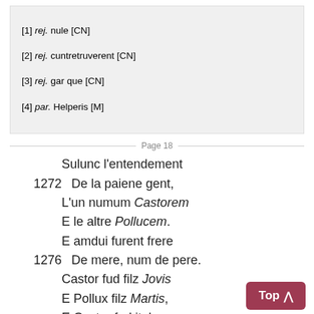[1] rej.  nule [CN]
[2] rej.  cuntretruverent [CN]
[3] rej.  gar que [CN]
[4]  par.  Helperis [M]
Page 18
Sulunc l'entendement
1272  De la paiene gent,
L'un numum Castorem
E le altre Pollucem.
E amdui furent frere
1276  De mere, num de pere.
Castor fud filz Jovis
E Pollux filz Martis,
E Castor fud itels
1280  Que il ne fud pas mortels.
E cil tant espleitat